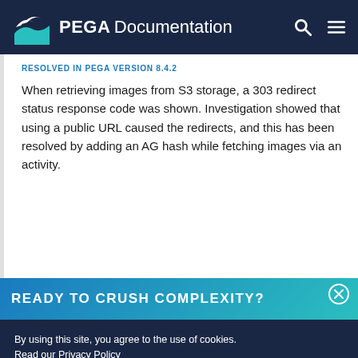PEGA Documentation
RESOLVED IN PEGA VERSION 8.4.2
When retrieving images from S3 storage, a 303 redirect status response code was shown. Investigation showed that using a public URL caused the redirects, and this has been resolved by adding an AG hash while fetching images via an activity.
READY TO CRUSH COMPLEXITY?
By using this site, you agree to the use of cookies. Read our Privacy Policy
Accept and continue | About cookies